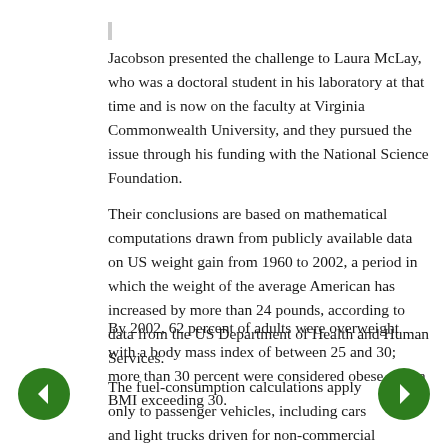Jacobson presented the challenge to Laura McLay, who was a doctoral student in his laboratory at that time and is now on the faculty at Virginia Commonwealth University, and they pursued the issue through his funding with the National Science Foundation.
Their conclusions are based on mathematical computations drawn from publicly available data on US weight gain from 1960 to 2002, a period in which the weight of the average American has increased by more than 24 pounds, according to data from the US Department of Health and Human Services.
By 2002, 62 percent of adults were overweight with a body mass index of between 25 and 30; more than 30 percent were considered obese with a BMI exceeding 30.
The fuel-consumption calculations apply only to passenger vehicles, including cars and light trucks driven for non-commercial reasons. Ruled out were other